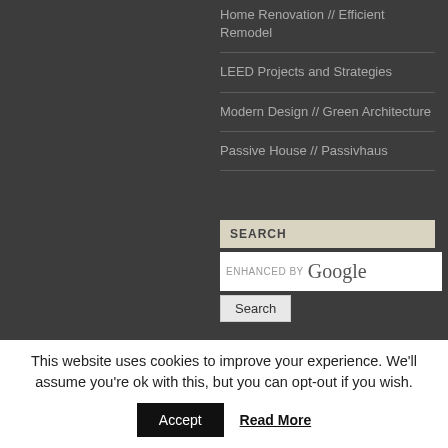Home Renovation // Efficient Remodel
LEED Projects and Strategies
Modern Design // Green Architecture
Passive House // Passivhaus
SEARCH
ENHANCED BY Google
Search
This website uses cookies to improve your experience. We'll assume you're ok with this, but you can opt-out if you wish.
Accept
Read More